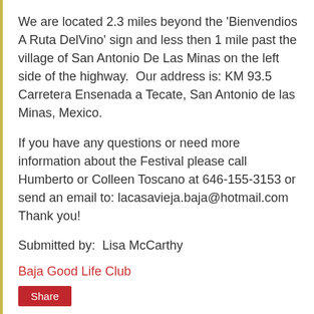We are located 2.3 miles beyond the 'Bienvendios A Ruta DelVino' sign and less then 1 mile past the village of San Antonio De Las Minas on the left side of the highway.  Our address is: KM 93.5 Carretera Ensenada a Tecate, San Antonio de las Minas, Mexico.
If you have any questions or need more information about the Festival please call Humberto or Colleen Toscano at 646-155-3153 or send an email to: lacasavieja.baja@hotmail.com Thank you!
Submitted by:  Lisa McCarthy
Baja Good Life Club
Share
No comments:
Post a Comment